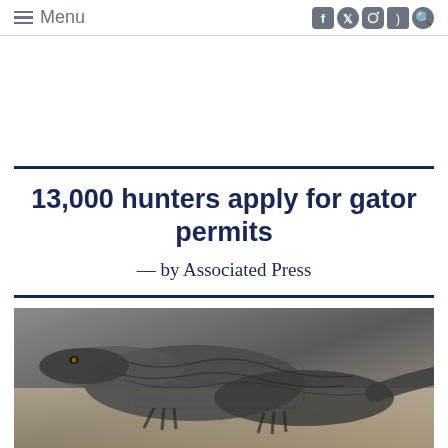Menu
13,000 hunters apply for gator permits
— by Associated Press
[Figure (photo): Close-up photograph of alligators, showing their scaly grey skin and bodies on sandy ground]